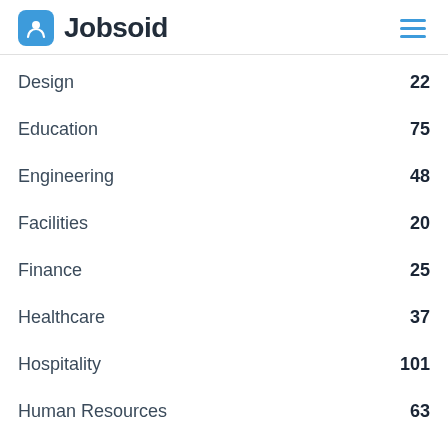Jobsoid
Design 22
Education 75
Engineering 48
Facilities 20
Finance 25
Healthcare 37
Hospitality 101
Human Resources 63
IT and Development 68
Legal 55
Logistics 57